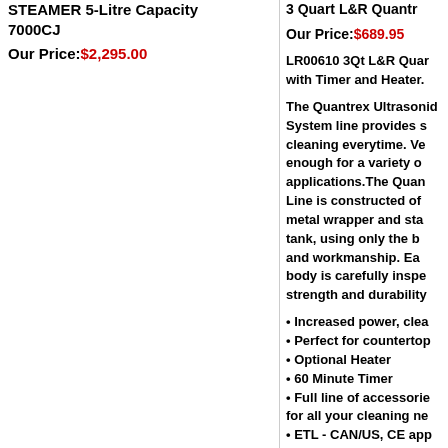STEAMER 5-Litre Capacity 7000CJ
Our Price: $2,295.00
3 Quart L&R Quantrex
Our Price: $689.95
LR00610 3Qt L&R Quantrex with Timer and Heater.
The Quantrex Ultrasonic System line provides s cleaning everytime. Ver enough for a variety of applications.The Quant Line is constructed of a metal wrapper and stai tank, using only the be and workmanship. Eac body is carefully inspe strength and durability.
Increased power, clea
Perfect for countertop
Optional Heater
60 Minute Timer
Full line of accessorie for all your cleaning ne
ETL - CAN/US, CE app
ISO 9001 - 2008
Constructed with viny and stainless steel